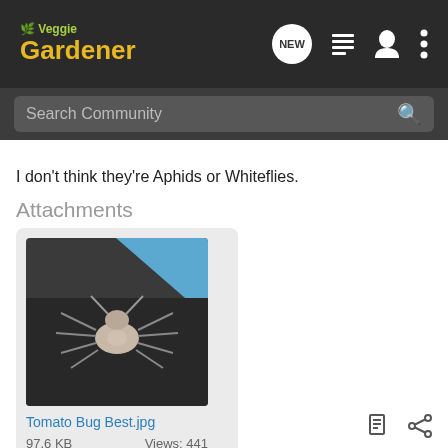Veggie Gardener — navigation bar with NEW, list, user, and menu icons
Search Community
I don't think they're Aphids or Whiteflies.
Attachments
[Figure (photo): Photo of a spider-like bug (Tomato Bug Best.jpg), 97.6 KB, Views: 441]
Tomato Bug Best.jpg
97.6 KB   Views: 441